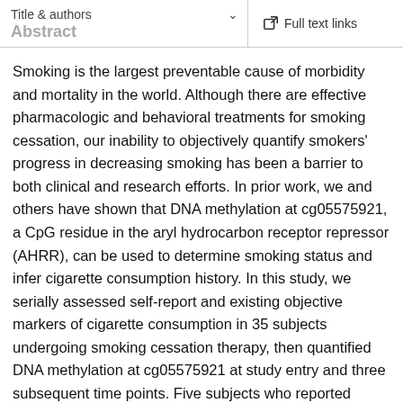Title & authors  ∨    Full text links
Abstract
Smoking is the largest preventable cause of morbidity and mortality in the world. Although there are effective pharmacologic and behavioral treatments for smoking cessation, our inability to objectively quantify smokers' progress in decreasing smoking has been a barrier to both clinical and research efforts. In prior work, we and others have shown that DNA methylation at cg05575921, a CpG residue in the aryl hydrocarbon receptor repressor (AHRR), can be used to determine smoking status and infer cigarette consumption history. In this study, we serially assessed self-report and existing objective markers of cigarette consumption in 35 subjects undergoing smoking cessation therapy, then quantified DNA methylation at cg05575921 at study entry and three subsequent time points. Five subjects who reported serum cotinine and exhaled carbon monoxide verified smoking abstinence for the 8 months since study entry it